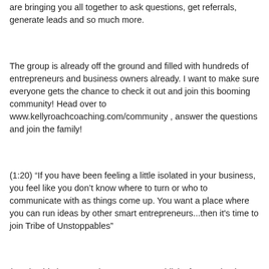are bringing you all together to ask questions, get referrals, generate leads and so much more.
The group is already off the ground and filled with hundreds of entrepreneurs and business owners already. I want to make sure everyone gets the chance to check it out and join this booming community! Head over to www.kellyroachcoaching.com/community , answer the questions and join the family!
(1:20) “If you have been feeling a little isolated in your business, you feel like you don’t know where to turn or who to communicate with as things come up. You want a place where you can run ideas by other smart entrepreneurs...then it's time to join Tribe of Unstoppables”
(3:00) “This is an amazing way to get publicity for your business and be able to be seen and be heard by other people who are also serious about their business”
(3:52) “The Tribe of Unstoppables is unique because it’s made up of people